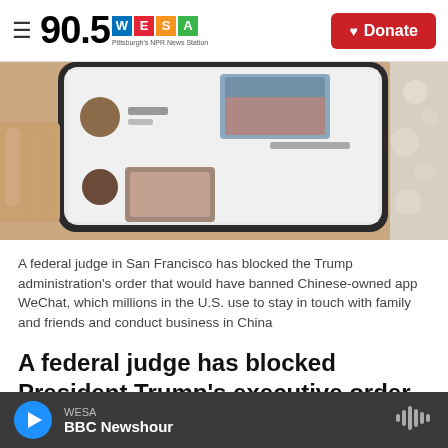90.5 WESA Pittsburgh's NPR News Station | Donate
[Figure (photo): Close-up photo of a hand holding a smartphone showing the WeChat app interface with Chinese characters and thumbnail images]
A federal judge in San Francisco has blocked the Trump administration's order that would have banned Chinese-owned app WeChat, which millions in the U.S. use to stay in touch with family and friends and conduct business in China
A federal judge has blocked President Trump's executive order that would have effectively shut
WESA | BBC Newshour